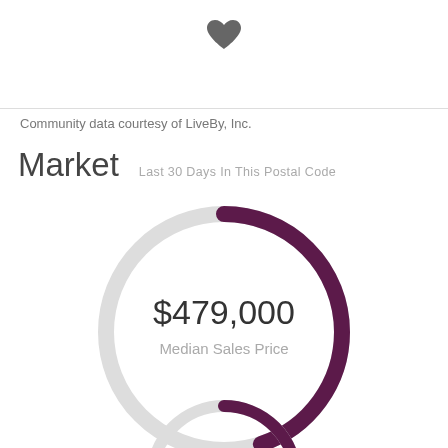[Figure (other): Heart icon at top center of page]
Community data courtesy of LiveBy, Inc.
Market
Last 30 Days In This Postal Code
[Figure (donut-chart): Donut/ring chart showing Median Sales Price of $479,000]
[Figure (donut-chart): Partial second donut chart visible at bottom of page]